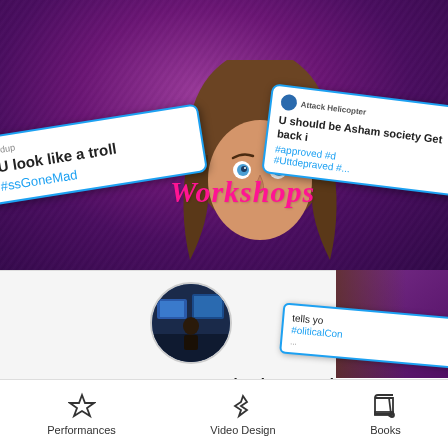[Figure (photo): Hero banner showing a person with long hair peeking up, surrounded by tweet cards with trolling messages on a purple velvet background. The word 'Workshops' appears in pink italic text overlaid on the image.]
[Figure (photo): Circular thumbnail image of a projection mapping workshop setup with screens and equipment]
Intro to projection mapping
TBC
Onlin
Performances  Video Design  Books